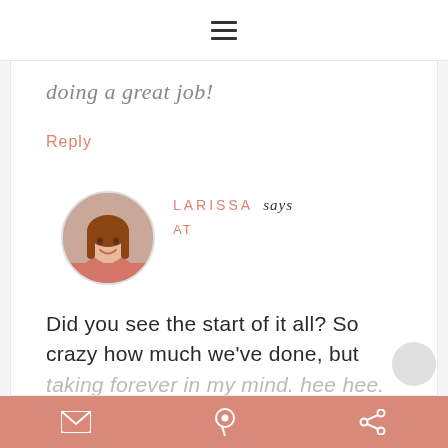≡ (hamburger menu icon)
doing a great job!
Reply
[Figure (photo): Circular avatar photo of a woman named Larissa, smiling, wearing a pink/salmon top, seated indoors]
LARISSA says
AT
Did you see the start of it all? So crazy how much we've done, but taking forever in my mind. hee hee. Thanks!
Bottom toolbar with email, Pinterest, and share icons